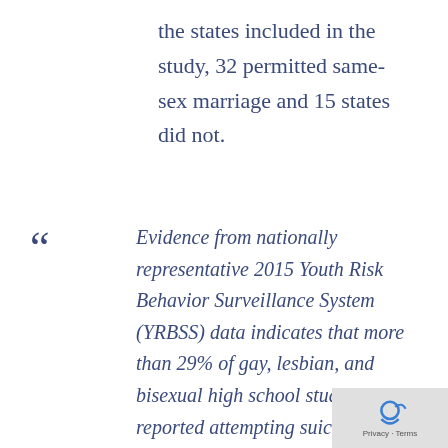the states included in the study, 32 permitted same-sex marriage and 15 states did not.
Evidence from nationally representative 2015 Youth Risk Behavior Surveillance System (YRBSS) data indicates that more than 29% of gay, lesbian, and bisexual high school students reported attempting suicide within the past 12 months, relative to 6% of heterosexual students.